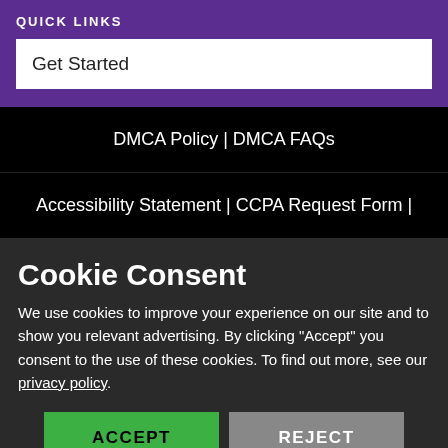QUICK LINKS
Get Started
DMCA Policy | DMCA FAQs
Accessibility Statement | CCPA Request Form |
Cookie Consent
We use cookies to improve your experience on our site and to show you relevant advertising. By clicking "Accept" you consent to the use of these cookies. To find out more, see our privacy policy.
ACCEPT
REJECT